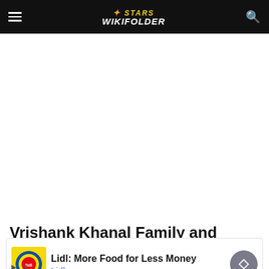Stars Wikifolder
[Figure (other): White blank content area (advertisement space)]
Vrishank Khanal Family and
[Figure (other): Advertisement banner: Lidl: More Food for Less Money - Lidl]